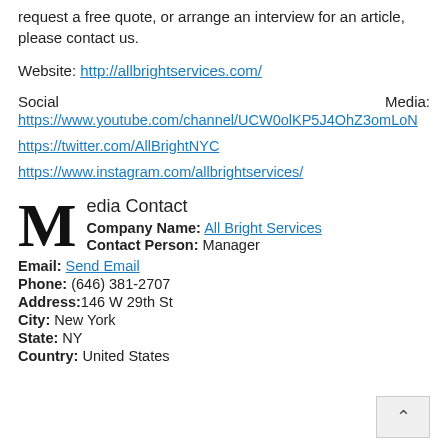request a free quote, or arrange an interview for an article, please contact us.
Website: http://allbrightservices.com/
Social Media: https://www.youtube.com/channel/UCW0olKP5J4OhZ3omLoN...
https://twitter.com/AllBrightNYC
https://www.instagram.com/allbrightservices/
Media Contact
Company Name: All Bright Services
Contact Person: Manager
Email: Send Email
Phone: (646) 381-2707
Address: 146 W 29th St
City: New York
State: NY
Country: United States